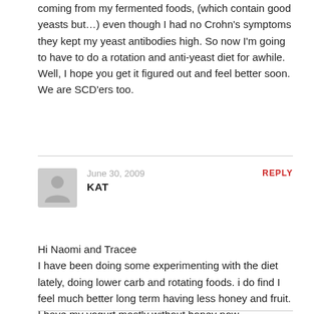coming from my fermented foods, (which contain good yeasts but…) even though I had no Crohn's symptoms they kept my yeast antibodies high. So now I'm going to have to do a rotation and anti-yeast diet for awhile. Well, I hope you get it figured out and feel better soon. We are SCD'ers too.
June 30, 2009
KAT
REPLY
Hi Naomi and Tracee
I have been doing some experimenting with the diet lately, doing lower carb and rotating foods. i do find I feel much better long term having less honey and fruit. I have my yogurt mostly without honey now.

I did the ELISA test a while ago but it didn't really show anything problematic except for egg whites. I haven't done one lately so that may be something to do soon but I have been feeling pretty good lately.